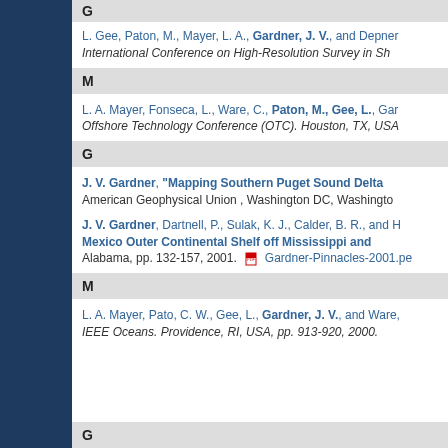G
L. Gee, Paton, M., Mayer, L. A., Gardner, J. V., and Depner, International Conference on High-Resolution Survey in Sh...
M
L. A. Mayer, Fonseca, L., Ware, C., Paton, M., Gee, L., Gar... Offshore Technology Conference (OTC). Houston, TX, USA...
G
J. V. Gardner, "Mapping Southern Puget Sound Delta..." American Geophysical Union , Washington DC, Washingto...
J. V. Gardner, Dartnell, P., Sulak, K. J., Calder, B. R., and H... Mexico Outer Continental Shelf off Mississippi and... Alabama, pp. 132-157, 2001. Gardner-Pinnacles-2001.pe...
M
L. A. Mayer, Pato, C. W., Gee, L., Gardner, J. V., and Ware, IEEE Oceans. Providence, RI, USA, pp. 913-920, 2000.
G